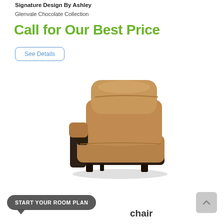Signature Design By Ashley
Glenvale Chocolate Collection
Call for Our Best Price
See Details
[Figure (photo): Brown leather recliner armchair from Signature Design By Ashley Glenvale Chocolate Collection]
START YOUR ROOM PLAN
chair